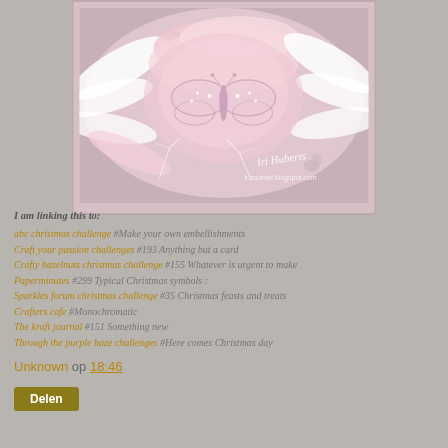[Figure (photo): A decorative pink feathered wreath/angel wings craft with a rhinestone butterfly embellishment in the center. White and pink feathers surround the piece. A watermark reads 'Iri Huberts' and 'iriscorner.blogspot.com' in the lower right.]
I am linking this to:
abc christmas challenge #Make your own embellishments
Craft your passion challenges #193 Anything but a card
Crafty hazelnuts christmas challenge #155 Whatever is urgent to make
Paperminutes #299 Typical Christmas symbols :
Sparkles forum christmas challenge #35 Christmas feasts and treats
Crafters cafe #Monochromatic
The kraft journal #151 Something new
Through the purple haze challenges #Here comes Christmas day
Unknown op 18:46
Delen